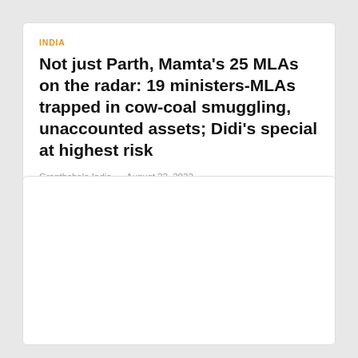INDIA
Not just Parth, Mamta's 25 MLAs on the radar: 19 ministers-MLAs trapped in cow-coal smuggling, unaccounted assets; Didi's special at highest risk
Granthshala India  -  August 22, 2022
[Figure (other): Empty white card/box placeholder, lower portion of page]